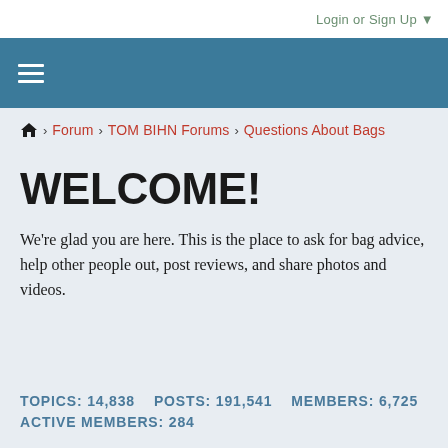Login or Sign Up ▼
≡
🏠 > Forum > TOM BIHN Forums > Questions About Bags
WELCOME!
We're glad you are here. This is the place to ask for bag advice, help other people out, post reviews, and share photos and videos.
TOPICS: 14,838    POSTS: 191,541    MEMBERS: 6,725
ACTIVE MEMBERS: 284